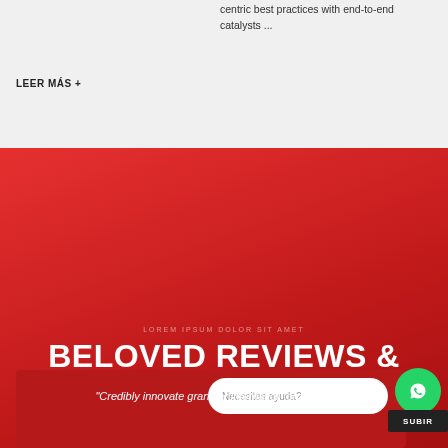centric best practices with end-to-end catalysts ...
LEER MÁS +
BELOVED REVIEWS & TECHNOLOGIES
Necesitas ayuda?
"Credibly innovate granular internal or "organic"